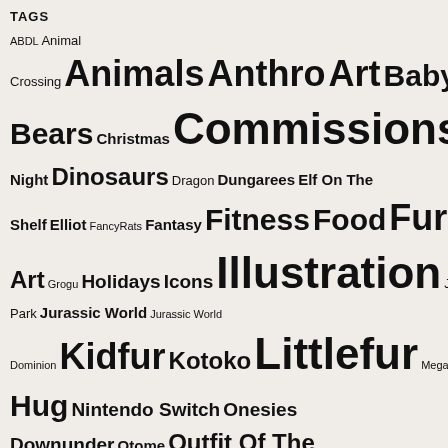TAGS
ABDL Animal Crossing Animals Anthro Art Babyfur Books Cats Charlie Bears Christmas Commissions Date Night Dinosaurs Dragon Dungarees Elf On The Shelf Elliot FancyRats Fantasy Fitness Food Furry Gastropods Gift Art Grogu Holidays Icons Illustration Jurassic Park Jurassic World Jurassic World Dominion Kidfur Kotoko Littlefur Meganeea MoonPie My Hug Nintendo Switch Onesies Downunder Otome Outfit Of The Day Overalls Patches Personal Art Pets Rats Rosemary Selfies Sesame Street Shortalls Skirtalls Snails Star Wars Stationary Bike Stuffed Animals Stuffies Tamagotchi TamagotchiOn Teddy Bears